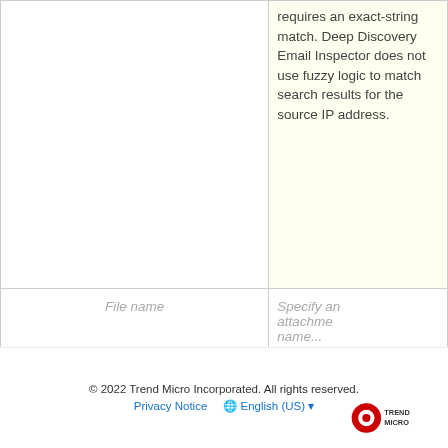|  | requires an exact-string match. Deep Discovery Email Inspector does not use fuzzy logic to match search results for the source IP address. |
| File name | Specify an attachment name... |
© 2022 Trend Micro Incorporated. All rights reserved.
Privacy Notice   English (US)